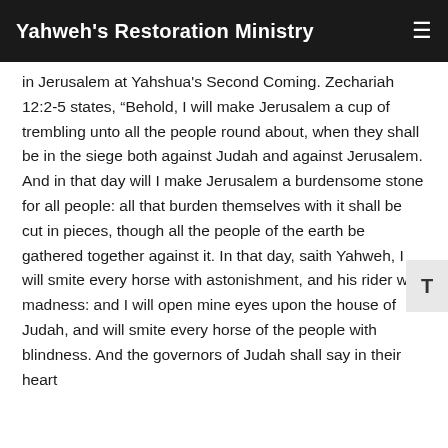Yahweh's Restoration Ministry
in Jerusalem at Yahshua's Second Coming. Zechariah 12:2-5 states, “Behold, I will make Jerusalem a cup of trembling unto all the people round about, when they shall be in the siege both against Judah and against Jerusalem. And in that day will I make Jerusalem a burdensome stone for all people: all that burden themselves with it shall be cut in pieces, though all the people of the earth be gathered together against it. In that day, saith Yahweh, I will smite every horse with astonishment, and his rider with madness: and I will open mine eyes upon the house of Judah, and will smite every horse of the people with blindness. And the governors of Judah shall say in their heart